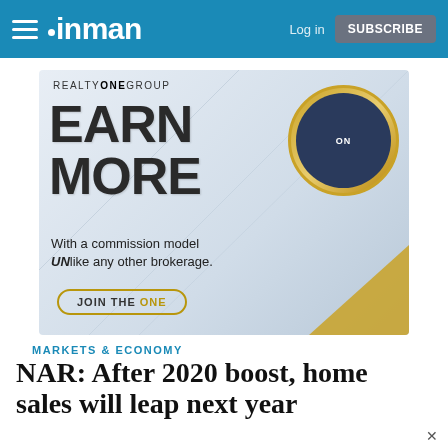inman — Log in | SUBSCRIBE
[Figure (photo): Realty ONE Group advertisement banner. Text reads: REALTY ONE GROUP. EARN MORE. With a commission model UNlike any other brokerage. JOIN THE ONE. Features group photo of agents in circular frame with gold border.]
MARKETS & ECONOMY
NAR: After 2020 boost, home sales will leap next year